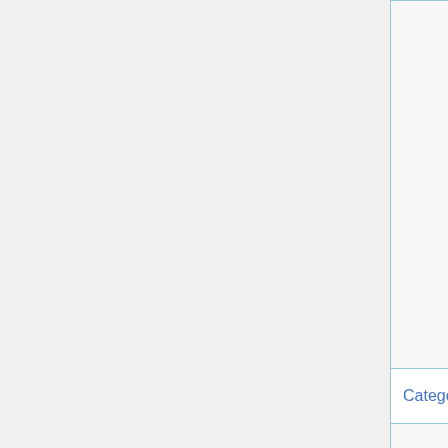|  |  | Description |
| --- | --- | --- |
|  |  | can be dazed for 3 turns.

The damage increase with your Strength and the critical chance is based on your Mental crit rate.

Each point in storm drake talents also increases your lightning resistance by 1%. |
Category:  Category